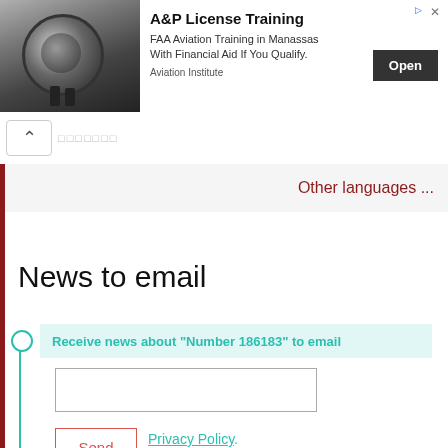[Figure (screenshot): Advertisement banner for A&P License Training — FAA Aviation Training in Manassas with financial aid. Features a photo of jet engines and an Open button. Aviation Institute branding.]
Other languages ...
News to email
Receive news about "Number 186183" to email
Send
Privacy Policy.